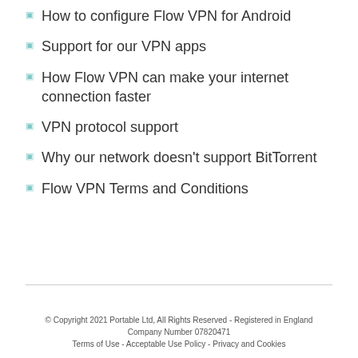How to configure Flow VPN for Android
Support for our VPN apps
How Flow VPN can make your internet connection faster
VPN protocol support
Why our network doesn't support BitTorrent
Flow VPN Terms and Conditions
© Copyright 2021 Portable Ltd, All Rights Reserved - Registered in England Company Number 07820471 Terms of Use - Acceptable Use Policy - Privacy and Cookies